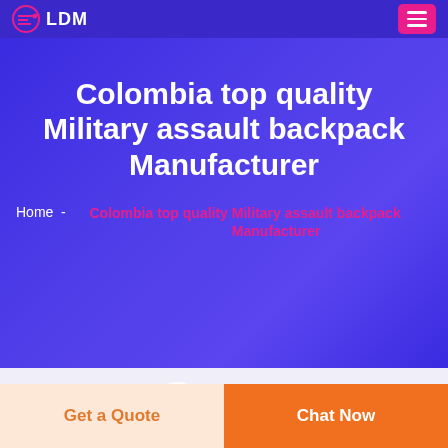LDM
Colombia top quality Military assault backpack Manufacturer
Home  -  Colombia top quality Military assault backpack Manufacturer
[Figure (logo): Circular logo icon with arrows/lines pattern]
Get a Quote
Chat Now